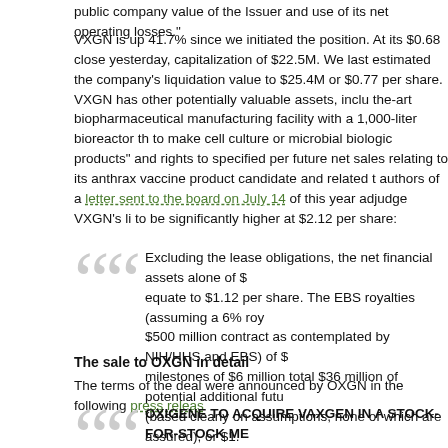public company value of the Issuer and use of its net operating losses."
VXGN is up 41.7% since we initiated the position. At its $0.68 close yesterday, capitalization of $22.5M. We last estimated the company's liquidation value to $25.4M or $0.77 per share. VXGN has other potentially valuable assets, inclu the-art biopharmaceutical manufacturing facility with a 1,000-liter bioreactor th to make cell culture or microbial biologic products" and rights to specified perc future net sales relating to its anthrax vaccine product candidate and related t authors of a letter sent to the board on July 14 of this year adjudge VXGN's li to be significantly higher at $2.12 per share:
Excluding the lease obligations, the net financial assets alone of $ equate to $1.12 per share. The EBS royalties (assuming a 6% roy $500 million contract as contemplated by NIH/HHS and EBS) of $3 milestones of $6 million total $36 million of potential additional futu (based clearly on assumptions, none of which are assured), or $1. Adding $1.12 and $1.09 equals $2.21 per share.
The sale to OXGN in detail
The terms of the deal were announced by OXGN in the following press releas
OXIGENE TO ACQUIRE VAXGEN IN A STOCK-FOR-STOCK ME
Acquisition to Add Approximately $33 Million in Cash to OXiG